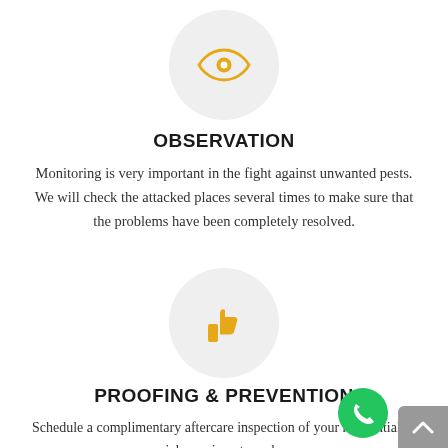[Figure (illustration): Eye icon (outline style) in golden/amber color inside a light grey circle]
OBSERVATION
Monitoring is very important in the fight against unwanted pests. We will check the attacked places several times to make sure that the problems have been completely resolved.
[Figure (illustration): Thumbs up icon in golden/amber color inside a light grey circle]
PROOFING & PREVENTION
Schedule a complimentary aftercare inspection of your residential or commercial premises, to make sure, we are effectively providing for you and for all...